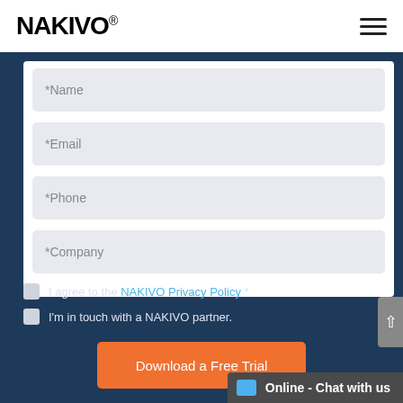[Figure (logo): NAKIVO logo with registered trademark symbol]
*Name
*Email
*Phone
*Company
I agree to the NAKIVO Privacy Policy *
I'm in touch with a NAKIVO partner.
Download a Free Trial
Online - Chat with us